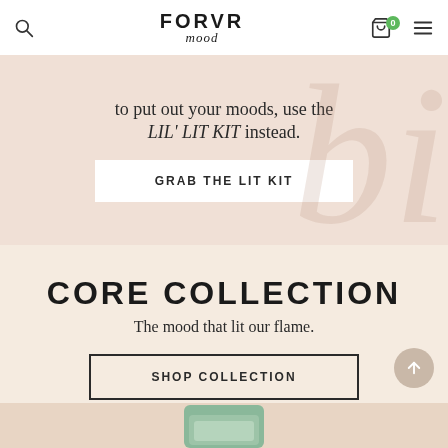FORVR mood
to put out your moods, use the LIL' LIT KIT instead.
GRAB THE LIT KIT
CORE COLLECTION
The mood that lit our flame.
SHOP COLLECTION
[Figure (photo): Green candle product partially visible at bottom of page]